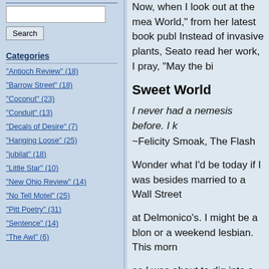[Search input box]
Search
Categories
"Antioch Review" (18)
"Barrow Street" (18)
"Coconut" (23)
"Conduit" (13)
"Decals of Desire" (7)
"Hanging Loose" (25)
"jubilat" (18)
"Little Star" (10)
"New Ohio Review" (14)
"No Tell Motel" (25)
"Pitt Poetry" (31)
"Sentence" (14)
"The Awl" (6)
Now, when I look out at the mea... World," from her latest book publ... Instead of invasive plants, Seato... read her work, I pray, "May the bi...
Sweet World
I never had a nemesis before. I k... ~Felicity Smoak, The Flash
Wonder what I'd be today if I was... besides married to a Wall Street...
at Delmonico's. I might be a blon... or a weekend lesbian. This morn...
as I was about to dig into a pile o... flew low and slow. It flew loud an...
a lot like the war movies of my fif...